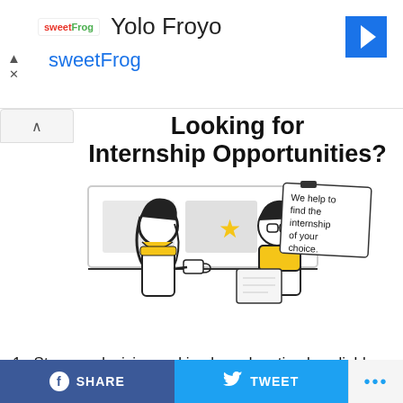[Figure (infographic): Ad banner for Yolo Froyo / sweetFrog with logo and navigation arrow]
Looking for Internship Opportunities?
[Figure (illustration): Two people sitting at a desk looking at a screen with a star rating. A note card reads 'We help to find the internship of your choice.']
Stronger decision making based on timely, reliable information
Faster problem solving
Earlier warning of potential problems
SHARE   TWEET   ...